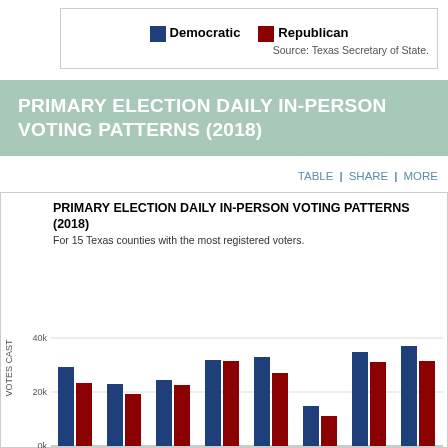[Figure (other): Legend showing Democratic (blue) and Republican (dark red) color swatches with source note: Texas Secretary of State.]
PRIMARY ELECTION DAILY IN-PERSON VOTING PATTERNS (2018)
TABLE | SHARE | MORE
[Figure (grouped-bar-chart): PRIMARY ELECTION DAILY IN-PERSON VOTING PATTERNS (2018)]